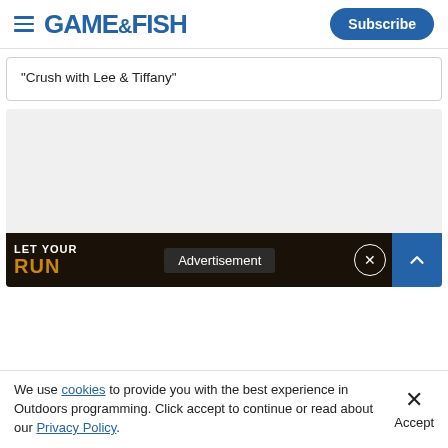GAME&FISH | Subscribe
"Crush with Lee & Tiffany"
[Figure (screenshot): Large light gray video/content placeholder area with an advertisement banner overlay at the bottom showing 'LET YOUR RUN' text and 'Advertisement' label with a close button and a blue scroll-up button on the right.]
We use cookies to provide you with the best experience in Outdoors programming. Click accept to continue or read about our Privacy Policy.